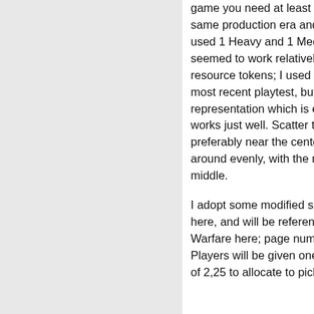game you need at least 4 Battlemechs, all from the same production era and with matching budgets. I used 1 Heavy and 1 Medium 'Mech per side, which seemed to work relatively well. You also need 10 resource tokens; I used crates and barrels for my most recent playtest, but anything that's an adequate representation which is easy to pick up and put down works just well. Scatter them as you please, preferably near the center of the era and spread around evenly, with the majority of objectives in the middle.
I adopt some modified some rules from Tac-Ops in here, and will be referencing tables from TO and Total Warfare here; page numbers will be included. Players will be given one 'Mech each and a budget of 2,250 to allocate to picking a 'Mech and